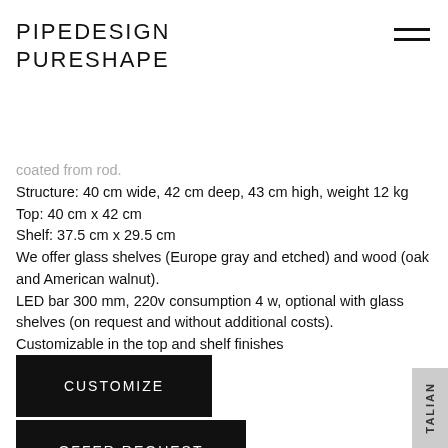PIPEDESIGN
PURESHAPE
coated from rod.
Structure: 40 cm wide, 42 cm deep, 43 cm high, weight 12 kg
Top: 40 cm x 42 cm
Shelf: 37.5 cm x 29.5 cm
We offer glass shelves (Europe gray and etched) and wood (oak and American walnut).
LED bar 300 mm, 220v consumption 4 w, optional with glass shelves (on request and without additional costs).
Customizable in the top and shelf finishes
CUSTOMIZE
OFFER REQUEST
TALIAN